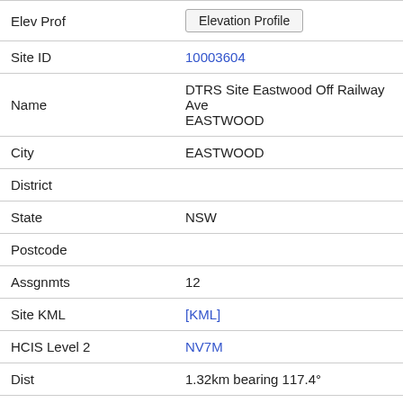| Field | Value |
| --- | --- |
| Elev Prof | Elevation Profile |
| Site ID | 10003604 |
| Name | DTRS Site Eastwood Off Railway Ave EASTWOOD |
| City | EASTWOOD |
| District |  |
| State | NSW |
| Postcode |  |
| Assgnmts | 12 |
| Site KML | [KML] |
| HCIS Level 2 | NV7M |
| Dist | 1.32km bearing 117.4° |
| Elev Prof | Elevation Profile |
| Site ID | 10027305 |
| Name | Optus-Epping Eastwood Railway Blaxland Rd Epping |
| City | Epping |
| District |  |